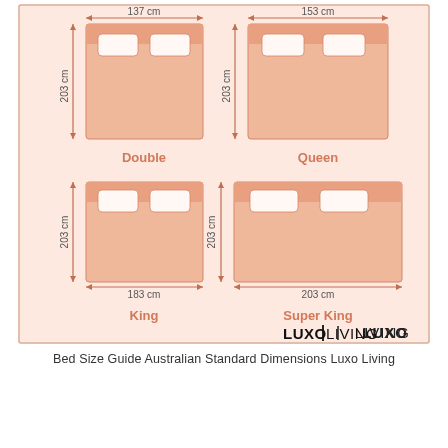[Figure (infographic): Bed Size Guide showing Australian Standard Dimensions for Double (137cm x 203cm), Queen (153cm x 203cm), King (183cm x 203cm), and Super King (203cm x 203cm) bed sizes, illustrated with top-down diagrams of beds with pillows and dimension arrows. Luxo Living branding in bottom right.]
Bed Size Guide Australian Standard Dimensions Luxo Living